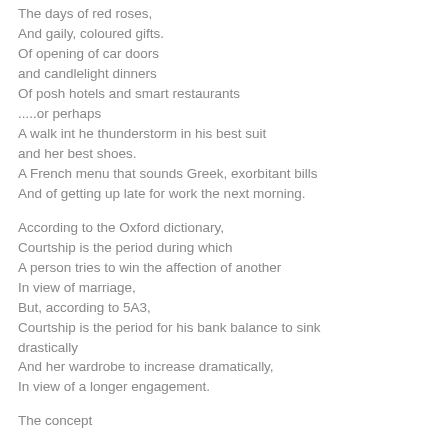The days of red roses,
And gaily, coloured gifts.
Of opening of car doors
and candlelight dinners
Of posh hotels and smart restaurants
.....or perhaps
A walk int he thunderstorm in his best suit
and her best shoes.
A French menu that sounds Greek, exorbitant bills
And of getting up late for work the next morning.
According to the Oxford dictionary,
Courtship is the period during which
A person tries to win the affection of another
In view of marriage,
But, according to 5A3,
Courtship is the period for his bank balance to sink drastically
And her wardrobe to increase dramatically,
In view of a longer engagement.
The concept